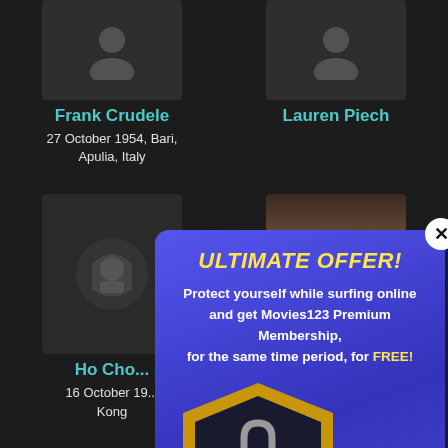[Figure (illustration): Placeholder person icon for Frank Crudele]
Frank Crudele
27 October 1954, Bari, Apulia, Italy
[Figure (illustration): Placeholder person icon for Lauren Piech]
Lauren Piech
[Figure (illustration): Placeholder person/logo icon for Ho Cho (truncated)]
Ho Cho...
16 October 19... Kong
[Figure (screenshot): Partial photo of second right person]
[Figure (infographic): Popup advertisement: ULTIMATE OFFER! Protect yourself while surfing online and get Movies123 Premium Membership, for the same time period, for FREE! Shows a shield with padlock graphic.]